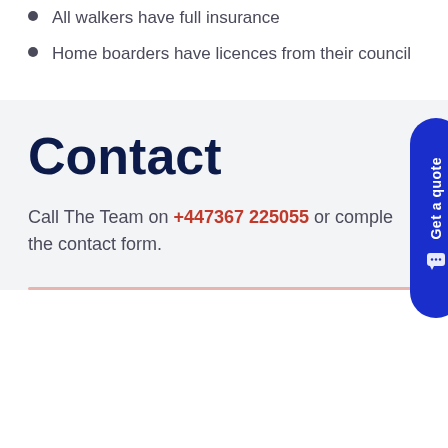All walkers have full insurance
Home boarders have licences from their council
Contact
Call The Team on +447367 225055 or complete the contact form.